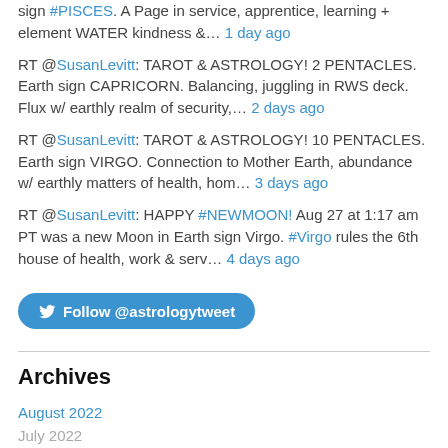sign #PISCES. A Page in service, apprentice, learning + element WATER kindness &… 1 day ago
RT @SusanLevitt: TAROT & ASTROLOGY! 2 PENTACLES. Earth sign CAPRICORN. Balancing, juggling in RWS deck. Flux w/ earthly realm of security,… 2 days ago
RT @SusanLevitt: TAROT & ASTROLOGY! 10 PENTACLES. Earth sign VIRGO. Connection to Mother Earth, abundance w/ earthly matters of health, hom… 3 days ago
RT @SusanLevitt: HAPPY #NEWMOON! Aug 27 at 1:17 am PT was a new Moon in Earth sign Virgo. #Virgo rules the 6th house of health, work & serv… 4 days ago
[Figure (other): Follow @astrologytweet button (Twitter/blue bird icon)]
Archives
August 2022
July 2022